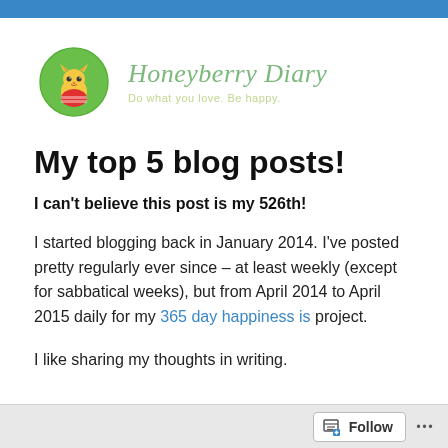[Figure (logo): Honeyberry Diary logo: green circle with cartoon yellow cat wearing red striped shirt, next to text 'Honeyberry Diary' in green italic script with tagline 'Do what you love. Be happy.']
My top 5 blog posts!
I can't believe this post is my 526th!
I started blogging back in January 2014. I've posted pretty regularly ever since – at least weekly (except for sabbatical weeks), but from April 2014 to April 2015 daily for my 365 day happiness is project.
I like sharing my thoughts in writing.
Follow